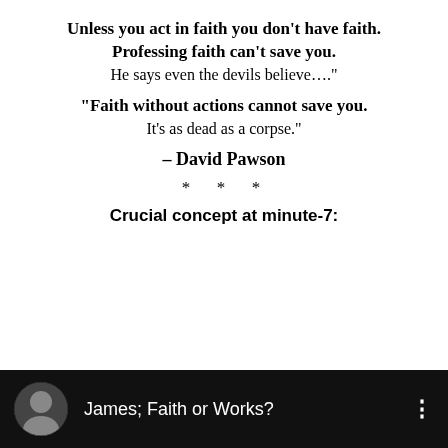Unless you act in faith you don't have faith. Professing faith can't save you. He says even the devils believe…."
"Faith without actions cannot save you. It's as dead as a corpse."
– David Pawson
* * *
Crucial concept at minute-7:
[Figure (screenshot): YouTube video thumbnail/bar showing a circular black-and-white photo of an elderly man in a suit, the title 'James; Faith or Works?' in white text on a black background, with a three-dot menu icon on the right.]